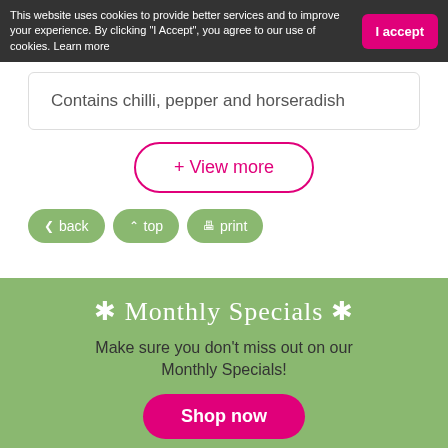This website uses cookies to provide better services and to improve your experience. By clicking "I Accept", you agree to our use of cookies. Learn more
I accept
Contains chilli, pepper and horseradish
+ View more
< back
^ top
print
* Monthly Specials *
Make sure you don't miss out on our Monthly Specials!
Shop now